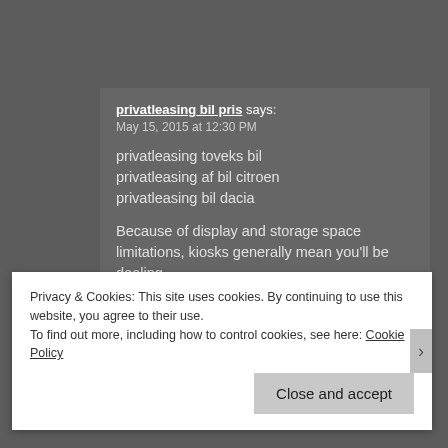privatleasing bil pris says:
May 15, 2015 at 12:30 PM
privatleasing toveks bil
privatleasing af bil citroen
privatleasing bil dacia

Because of display and storage space limitations, kiosks generally mean you'll be dealing
in smaller wares. Today, it has evolved to become one of Japan's top
Privacy & Cookies: This site uses cookies. By continuing to use this website, you agree to their use.
To find out more, including how to control cookies, see here: Cookie Policy
Close and accept